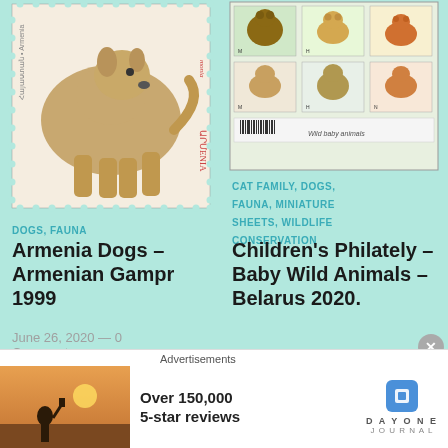[Figure (photo): Armenian Gampr dog stamp from Armenia 1999, showing a light brown dog walking, with Armenian text and perforated edges]
[Figure (photo): Belarus 2020 miniature sheet showing wild baby animals including cats, foxes, bears, with 'Wild baby animals' text at bottom]
DOGS, FAUNA
Armenia Dogs – Armenian Gampr 1999
June 26, 2020 — 0 Comments
CAT FAMILY, DOGS, FAUNA, MINIATURE SHEETS, WILDLIFE CONSERVATION
Children's Philately – Baby Wild Animals – Belarus 2020.
June 24, 2020 — 0 Comments
DOGS, EXHIBITIONS, FAUNA, STAMP
DOGS, EXHIBITIONS, FAUNA, STAMP
Advertisements
[Figure (photo): Advertisement for Day One Journal app — person photographing sunset, Over 150,000 5-star reviews, Day One Journal logo]